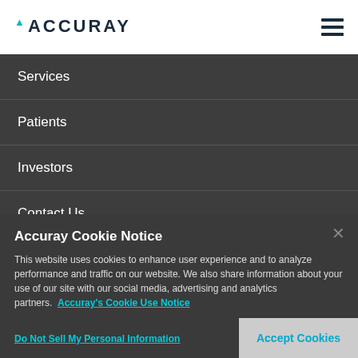ACCURAY
Services
Patients
Investors
Contact Us
Accuray Cookie Notice
This website uses cookies to enhance user experience and to analyze performance and traffic on our website. We also share information about your use of our site with our social media, advertising and analytics partners.  Accuray's Cookie Use Notice
Do Not Sell My Personal Information
Accept Cookies